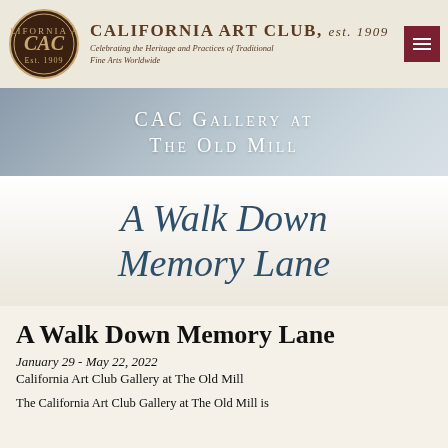[Figure (logo): California Art Club circular logo with CAC monogram, est. 1909]
CALIFORNIA ART CLUB, est. 1909
Celebrating the Heritage and Practices of Traditional Fine Arts Worldwide
CAC Gallery at The Old Mill
A Walk Down Memory Lane
A Walk Down Memory Lane
January 29 - May 22, 2022
California Art Club Gallery at The Old Mill
The California Art Club Gallery at The Old Mill is